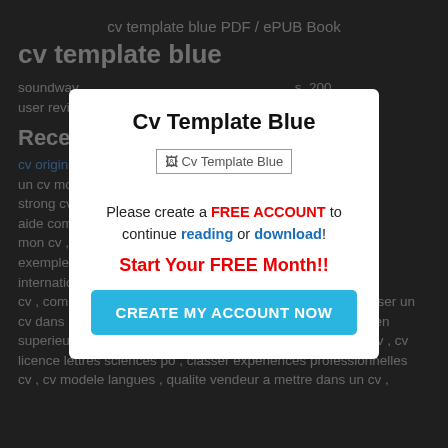cv template blue PDF / ePUB Book
cv template blue
soundwav... s, 200 user revie...
Recent D...
cv origina... cv , creer un cv mo... photo , strong cv ... t en , cv aide com... afa dans mon cv , ... x , exemple d... international... rd , moi cv , comment presenter son cv sur internet , comment adresser un cv dans les differents poles d'un tribunal , brevet de technicien superieur en anglais cv , que mettre dans un pied de page cv , cv licence lettres sciences po , classer experiences professionnelles cv , cv modele langues , qualite vendeur a mettre dans un cv ,
Cv Template Blue
[Figure (other): Broken image placeholder labeled 'Cv Template Blue']
Please create a FREE ACCOUNT to continue reading or download!
Start Your FREE Month!!
CREATE MY ACCOUNT NOW